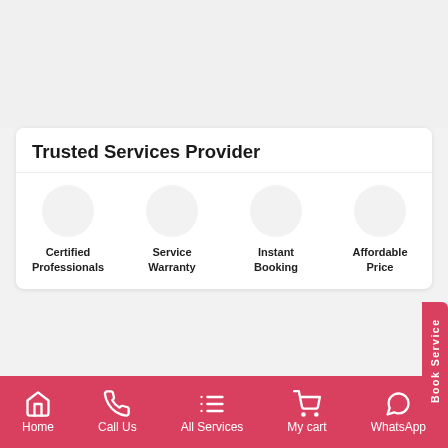Trusted Services Provider
Certified Professionals
Service Warranty
Instant Booking
Affordable Price
Book Service
Brands That We Love to Repair
[Figure (logo): BOSCH logo]
[Figure (logo): elica logo]
[Figure (logo): FABER logo]
[Figure (logo): IFB logo]
Home  Call Us  All Services  My cart  WhatsApp